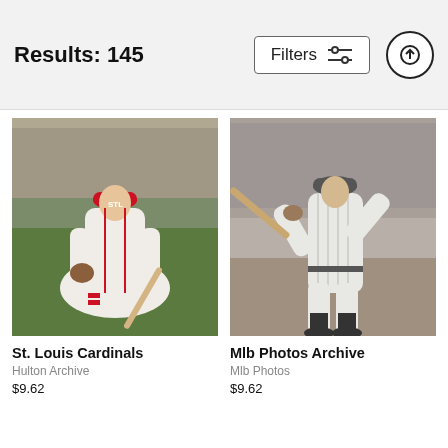Results: 145
[Figure (photo): St. Louis Cardinals baseball player in uniform crouching with a bat, color photo]
St. Louis Cardinals
Hulton Archive
$9.62
[Figure (photo): Baseball player swinging a bat, black and white archival photo, Mlb Photos Archive]
Mlb Photos Archive
Mlb Photos
$9.62